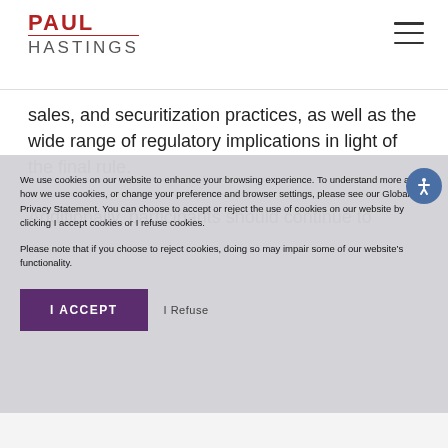PAUL HASTINGS
sales, and securitization practices, as well as the wide range of regulatory implications in light of the final rule.
Additionally, participants should continue to
We use cookies on our website to enhance your browsing experience. To understand more about how we use cookies, or change your preference and browser settings, please see our Global Privacy Statement. You can choose to accept or reject the use of cookies on our website by clicking I accept cookies or I refuse cookies.
Please note that if you choose to reject cookies, doing so may impair some of our website’s functionality.